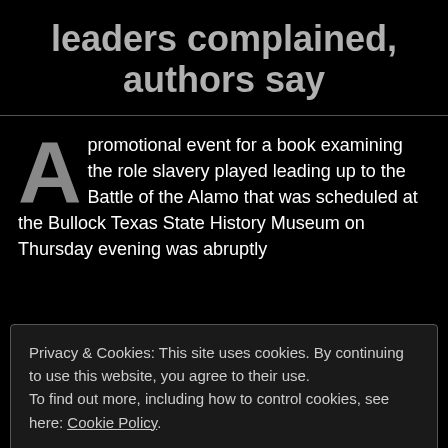leaders complained, authors say
A promotional event for a book examining the role slavery played leading up to the Battle of the Alamo that was scheduled at the Bullock Texas State History Museum on Thursday evening was abruptly
Privacy & Cookies: This site uses cookies. By continuing to use this website, you agree to their use.
To find out more, including how to control cookies, see here: Cookie Policy
Close and accept